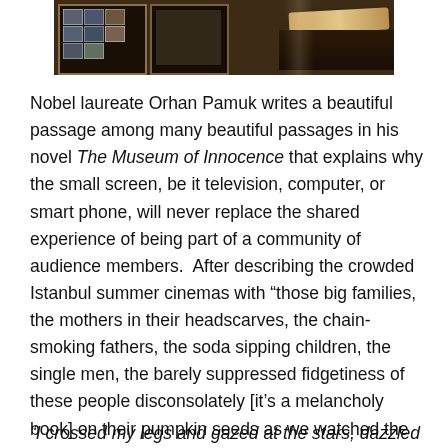[Figure (photo): Photograph of a museum or cinema interior showing framed photos on dark wooden walls and a wooden counter or bar surface]
Nobel laureate Orhan Pamuk writes a beautiful passage among many beautiful passages in his novel The Museum of Innocence that explains why the small screen, be it television, computer, or smart phone, will never replace the shared experience of being part of a community of audience members.  After describing the crowded Istanbul summer cinemas with “those big families, the mothers in their headscarves, the chain-smoking fathers, the soda sipping children, the single men, the barely suppressed fidgetiness of these people disconsolately [it’s a melancholy book] on their pumpkin seeds as we watched the film…” he writes:
“I crossed my legs and gazed at the stars, dazzled by the